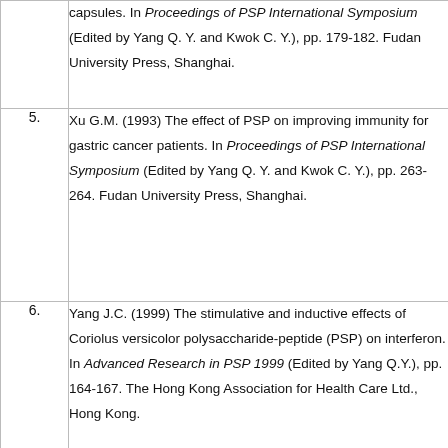| # | Reference |
| --- | --- |
|  | capsules. In Proceedings of PSP International Symposium (Edited by Yang Q. Y. and Kwok C. Y.), pp. 179-182. Fudan University Press, Shanghai. |
| 5. | Xu G.M. (1993) The effect of PSP on improving immunity for gastric cancer patients. In Proceedings of PSP International Symposium (Edited by Yang Q. Y. and Kwok C. Y.), pp. 263-264. Fudan University Press, Shanghai. |
| 6. | Yang J.C. (1999) The stimulative and inductive effects of Coriolus versicolor polysaccharide-peptide (PSP) on interferon. In Advanced Research in PSP 1999 (Edited by Yang Q.Y.), pp. 164-167. The Hong Kong Association for Health Care Ltd., Hong Kong. |